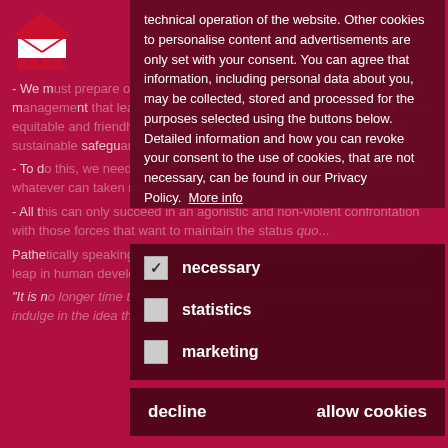[Figure (logo): Organization logo - red/white geometric building/envelope shape]
- We must prepare our press away of the end production with a system that along us to a new system of the planet in an equitable and friendly way. We must maintain a just, participative and sustainable safeguard of within the...
- To do this, we never a new, important, organization of worlds society, what even can taken from mostly, social just...
- All this can only succeed in an agonistic and non-violent confrontation with those forces that want to maintain the status quo...
Pathetically speaking what is on the horizon is nothing less than a new leap in human development.
“It is no longer time to merely acknowledge ecological disasters. Nor to indulge in the idea that the development of
technical operation of the website. Other cookies to personalise content and advertisements are only set with your consent. You can agree that information, including personal data about you, may be collected, stored and processed for the purposes selected using the buttons below. Detailed information and how you can revoke your consent to the use of cookies, that are not necessary, can be found in our Privacy Policy. More info
necessary (checked)
statistics (unchecked)
marketing (unchecked)
decline   allow cookies